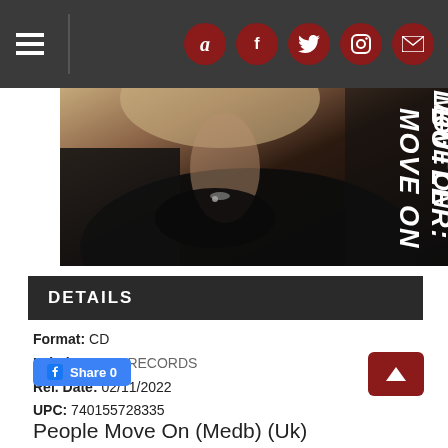Navigation bar with hamburger menu and social icons (Amazon, Facebook, Twitter, Instagram, Email)
[Figure (photo): Album cover photo showing a dark-clothed figure with a necklace, text overlay reading 'BUTLER: MOVE ON' in white italic letters on the right side]
DETAILS
Format: CD
Label: EDSEL RECORDS
Rel. Date: 02/11/2022
UPC: 740155728335
Share 0
People Move On (Medb) (Uk)